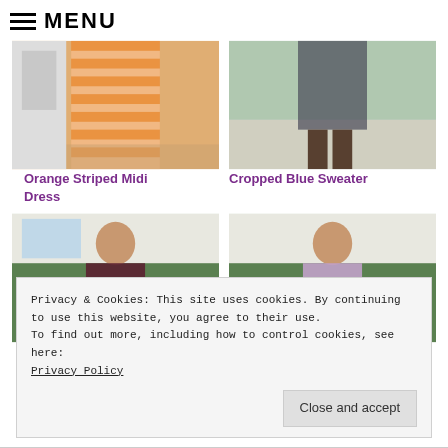≡ MENU
[Figure (photo): Woman wearing an orange striped midi dress, lower half visible, standing near a white door on wooden floor.]
[Figure (photo): Woman wearing a cropped blue sweater and dark pants with brown boots, standing on a sidewalk outdoors.]
Orange Striped Midi Dress
Cropped Blue Sweater
[Figure (photo): Woman wearing a dark burgundy shirt and jeans, standing in front of green bushes outdoors.]
[Figure (photo): Woman wearing a purple/pink patterned cardigan and dark pants, standing in front of green bushes outdoors.]
Privacy & Cookies: This site uses cookies. By continuing to use this website, you agree to their use.
To find out more, including how to control cookies, see here: Privacy Policy
Close and accept